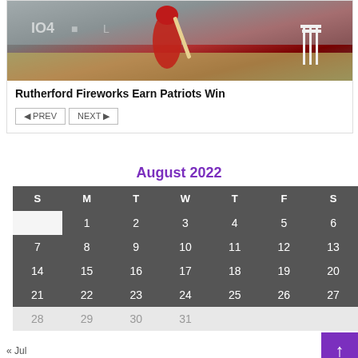[Figure (photo): Cricket player in red uniform batting, with wickets visible in the background, stadium setting]
Rutherford Fireworks Earn Patriots Win
◄ PREV   NEXT ►
August 2022
| S | M | T | W | T | F | S |
| --- | --- | --- | --- | --- | --- | --- |
|  | 1 | 2 | 3 | 4 | 5 | 6 |
| 7 | 8 | 9 | 10 | 11 | 12 | 13 |
| 14 | 15 | 16 | 17 | 18 | 19 | 20 |
| 21 | 22 | 23 | 24 | 25 | 26 | 27 |
| 28 | 29 | 30 | 31 |  |  |  |
« Jul